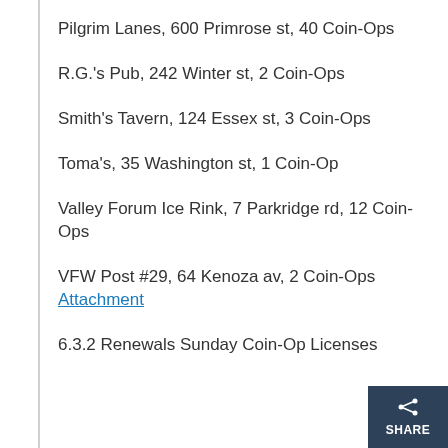Pilgrim Lanes, 600 Primrose st, 40 Coin-Ops
R.G.'s Pub, 242 Winter st, 2 Coin-Ops
Smith's Tavern, 124 Essex st, 3 Coin-Ops
Toma's, 35 Washington st, 1 Coin-Op
Valley Forum Ice Rink, 7 Parkridge rd, 12 Coin-Ops
VFW Post #29, 64 Kenoza av, 2 Coin-Ops Attachment
6.3.2 Renewals Sunday Coin-Op Licenses